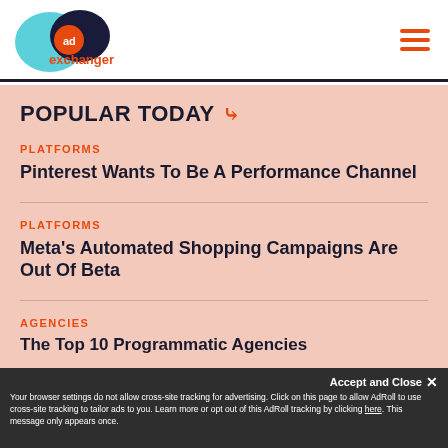[Figure (logo): AdExchanger logo with teal and navy overlapping circles and orange 'ad' badge, with 'exchanger' text in orange below]
AdExchanger
POPULAR TODAY
PLATFORMS
Pinterest Wants To Be A Performance Channel
PLATFORMS
Meta's Automated Shopping Campaigns Are Out Of Beta
AGENCIES
The Top 10 Programmatic Agencies
Accept and Close ✕
Your browser settings do not allow cross-site tracking for advertising. Click on this page to allow AdRoll to use cross-site tracking to tailor ads to you. Learn more or opt out of this AdRoll tracking by clicking here. This message only appears once.